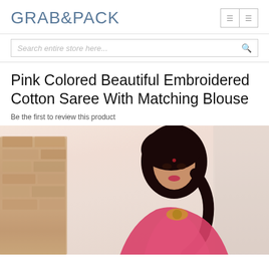GRAB&PACK
Search entire store here...
Pink Colored Beautiful Embroidered Cotton Saree With Matching Blouse
Be the first to review this product
[Figure (photo): A woman wearing a pink embroidered cotton saree with matching blouse, standing against a textured brick/stone wall background. She has dark hair styled in a braid and wears ornate jewelry.]